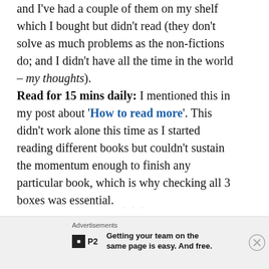and I've had a couple of them on my shelf which I bought but didn't read (they don't solve as much problems as the non-fictions do; and I didn't have all the time in the world – my thoughts).
Read for 15 mins daily: I mentioned this in my post about 'How to read more'. This didn't work alone this time as I started reading different books but couldn't sustain the momentum enough to finish any particular book, which is why checking all 3 boxes was essential.
Advertisements
[Figure (logo): P2 logo with tagline: Getting your team on the same page is easy. And free.]